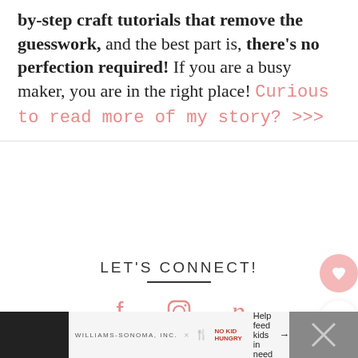Around here, you'll find easy-to-follow, step-by-step craft tutorials that remove the guesswork, and the best part is, there's no perfection required! If you are a busy maker, you are in the right place! Curious to read more of my story? >>>
LET'S CONNECT!
[Figure (infographic): Social media icons for Facebook, Instagram, and Pinterest in pink color]
[Figure (infographic): Floating heart button (pink circle) and share button (white circle) on right side]
[Figure (infographic): What's Next card showing Erin & Zack - [Sneak Peek...] with a circular profile photo]
[Figure (infographic): Ad bar at bottom: Williams-Sonoma, Inc. x No Kid Hungry - Help feed kids in need →]